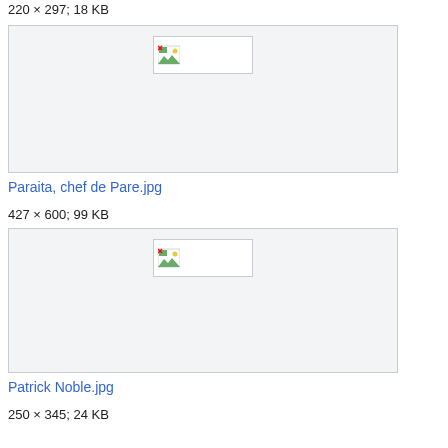220 × 297; 18 KB
[Figure (screenshot): Broken image placeholder in a light gray box]
Paraita, chef de Pare.jpg
427 × 600; 99 KB
[Figure (screenshot): Broken image placeholder in a light gray box]
Patrick Noble.jpg
250 × 345; 24 KB